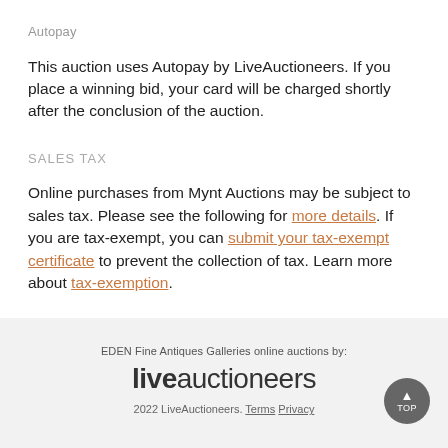Autopay
This auction uses Autopay by LiveAuctioneers. If you place a winning bid, your card will be charged shortly after the conclusion of the auction.
SALES TAX
Online purchases from Mynt Auctions may be subject to sales tax. Please see the following for more details. If you are tax-exempt, you can submit your tax-exempt certificate to prevent the collection of tax. Learn more about tax-exemption.
EDEN Fine Antiques Galleries online auctions by: liveauctioneers 2022 LiveAuctioneers. Terms Privacy